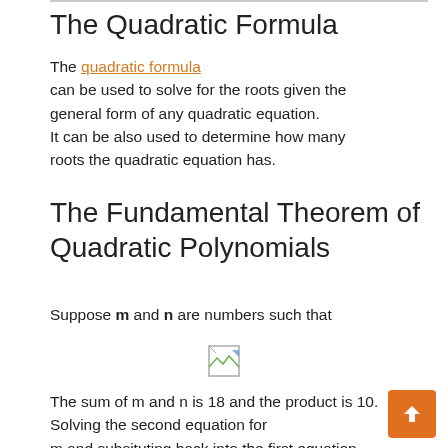The Quadratic Formula
The quadratic formula can be used to solve for the roots given the general form of any quadratic equation. It can be also used to determine how many roots the quadratic equation has.
The Fundamental Theorem of Quadratic Polynomials
Suppose m and n are numbers such that
[Figure (other): Broken image placeholder for a formula or equation image]
The sum of m and n is 18 and the product is 10. Solving the second equation for m and subsituting back into the first equation,